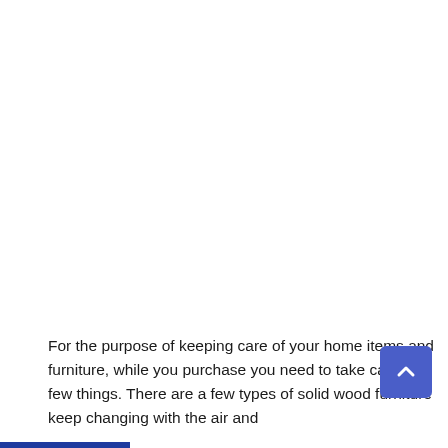For the purpose of keeping care of your home items and furniture, while you purchase you need to take care of a few things. There are a few types of solid wood furniture keep changing with the air and